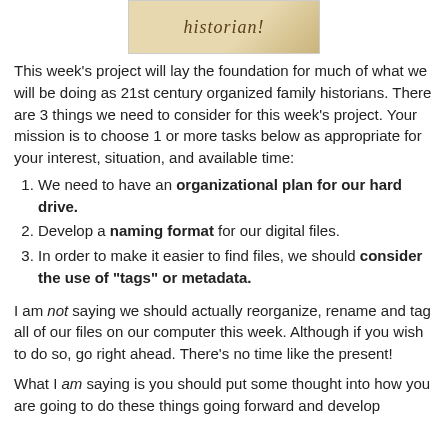[Figure (illustration): Decorative image with cursive text reading 'historian!' on a tan/gold background]
This week's project will lay the foundation for much of what we will be doing as 21st century organized family historians. There are 3 things we need to consider for this week's project. Your mission is to choose 1 or more tasks below as appropriate for your interest, situation, and available time:
We need to have an organizational plan for our hard drive.
Develop a naming format for our digital files.
In order to make it easier to find files, we should consider the use of "tags" or metadata.
I am not saying we should actually reorganize, rename and tag all of our files on our computer this week. Although if you wish to do so, go right ahead. There's no time like the present!
What I am saying is you should put some thought into how you are going to do these things going forward and develop